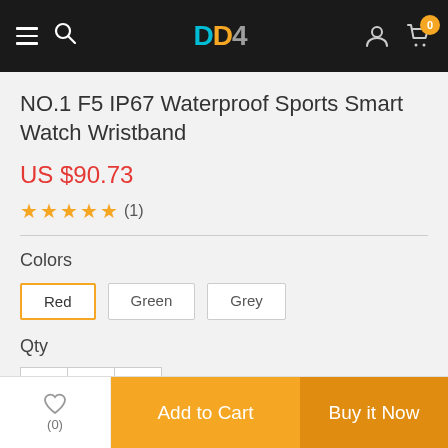DD4 navigation bar with menu, search, logo, user icon, cart (0)
NO.1 F5 IP67 Waterproof Sports Smart Watch Wristband
US $90.73
★★★★★ (1)
Colors
Red
Green
Grey
Qty
− 1 +
♡ (0)   Add to Cart   Buy it Now